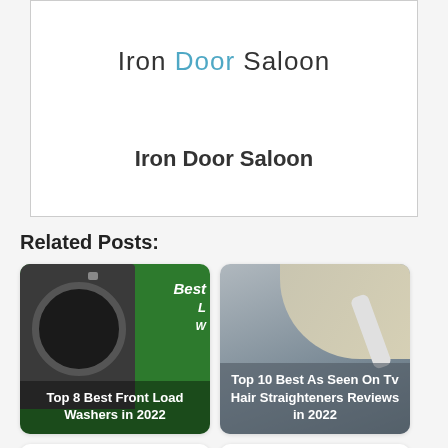[Figure (logo): Iron Door Saloon logo with 'Door' in blue text]
Iron Door Saloon
Related Posts:
[Figure (photo): Top 8 Best Front Load Washers in 2022 - washing machine on green background]
[Figure (photo): Top 10 Best As Seen On Tv Hair Straighteners Reviews in 2022 - person straightening hair]